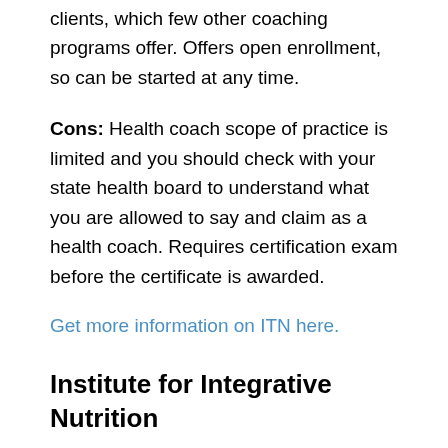clients, which few other coaching programs offer. Offers open enrollment, so can be started at any time.
Cons: Health coach scope of practice is limited and you should check with your state health board to understand what you are allowed to say and claim as a health coach. Requires certification exam before the certificate is awarded.
Get more information on ITN here.
Institute for Integrative Nutrition
The Institute for Integrative Nutrition trains health coaches in a holistic lifestyle and dietary wellness. Health coaches work alongside other healthcare providers, like doctors, naturopaths, nutritionists, dietitians, and more. They can also run their own health coaching business where they work directly with clients...